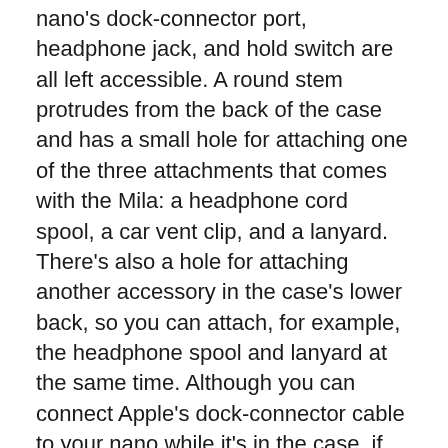nano's dock-connector port, headphone jack, and hold switch are all left accessible. A round stem protrudes from the back of the case and has a small hole for attaching one of the three attachments that comes with the Mila: a headphone cord spool, a car vent clip, and a lanyard. There's also a hole for attaching another accessory in the case's lower back, so you can attach, for example, the headphone spool and lanyard at the same time. Although you can connect Apple's dock-connector cable to your nano while it's in the case, if you want to put the iPod in a dock cradle, you'll have to remove the bottom portion of the case.
Of the included accessories, the most interesting is the car vent clip, which is designed to clip onto the louvers of your car's air vents. It's probably not